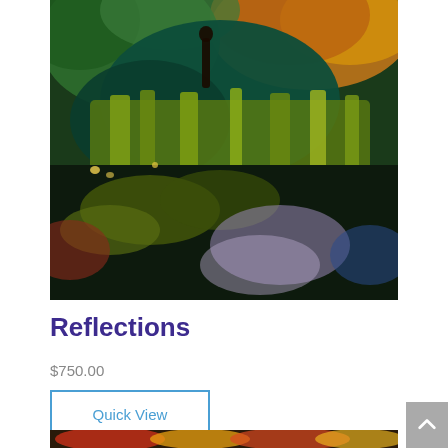[Figure (photo): Colorful impressionist painting of a pond or wetland scene with a figure standing among lush green, red, orange, and yellow foliage with dark water reflections]
Reflections
$750.00
Quick View
[Figure (photo): Partial view of another colorful painting visible at the bottom of the page]